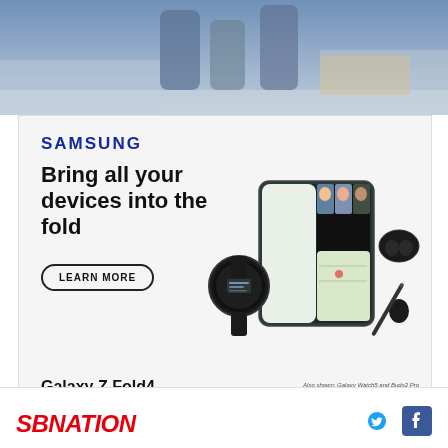[Figure (photo): Top banner photo showing people in an indoor setting, partially visible]
[Figure (advertisement): Samsung Galaxy Z Fold4 advertisement featuring the headline 'Bring all your devices into the fold', a Learn More button, and product images of the Galaxy Z Fold4, Galaxy Watch, Galaxy Buds2 Pro, and S Pen]
SAMSUNG
Bring all your devices into the fold
LEARN MORE
Galaxy Z Fold4
Also shown: Galaxy Watch5 and Buds2 Pro
Products sold separately. S Pen (optional) sold separately, compatible only with main display. Requires S Pen Fold Edition or S Pen Pro. Microsoft Teams requires separate download.
SBNATION